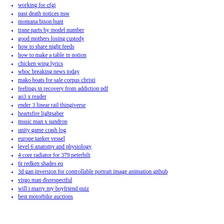working for cfgi
past death notices nsw
montana bison hunt
trane parts by model number
good mothers losing custody
how to share night feeds
how to make a table in notion
chicken wing lyrics
wboc breaking news today
mako boats for sale corpus christi
feelings in recovery from addiction pdf
ao3 x reader
ender 3 linear rail thingiverse
heartsfire lightsaber
music man x sundrop
unity game crash log
europe tanker vessel
level 6 anatomy and physiology
4 core radiator for 379 peterbilt
6t redken shades eq
3d gan inversion for controllable portrait image animation github
virgo man disrespectful
will i marry my boyfriend quiz
best motorbike auctions